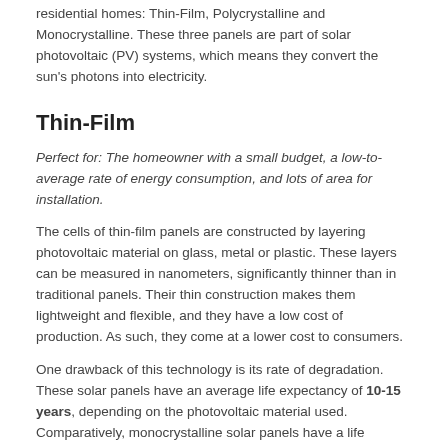residential homes: Thin-Film, Polycrystalline and Monocrystalline. These three panels are part of solar photovoltaic (PV) systems, which means they convert the sun's photons into electricity.
Thin-Film
Perfect for: The homeowner with a small budget, a low-to-average rate of energy consumption, and lots of area for installation.
The cells of thin-film panels are constructed by layering photovoltaic material on glass, metal or plastic. These layers can be measured in nanometers, significantly thinner than in traditional panels. Their thin construction makes them lightweight and flexible, and they have a low cost of production. As such, they come at a lower cost to consumers.
One drawback of this technology is its rate of degradation. These solar panels have an average life expectancy of 10-15 years, depending on the photovoltaic material used. Comparatively, monocrystalline solar panels have a life expectancy of 25-35